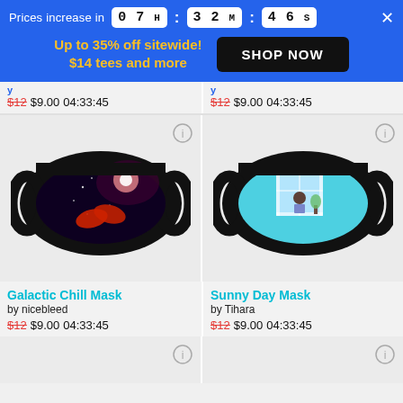Prices increase in 07 H : 32 M : 46 S
Up to 35% off sitewide! $14 tees and more
SHOP NOW
$12 $9.00 04:33:45
$12 $9.00 04:33:45
[Figure (photo): Face mask product photo: Galactic Chill Mask with space/galaxy design showing red hand and glowing light on dark background]
[Figure (photo): Face mask product photo: Sunny Day Mask with anime-style illustration of person sitting by window on teal/cyan background]
Galactic Chill Mask
by nicebleed
$12 $9.00 04:33:45
Sunny Day Mask
by Tihara
$12 $9.00 04:33:45